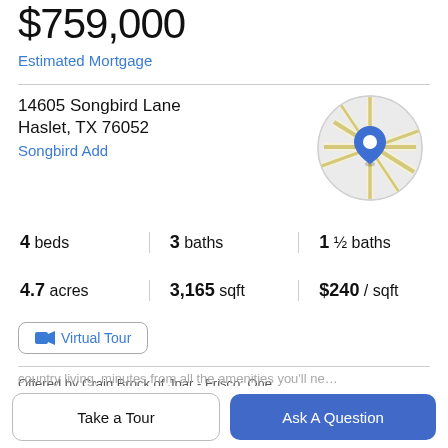$759,000
Estimated Mortgage
14605 Songbird Lane
Haslet, TX 76052
Songbird Add
[Figure (map): Circular map thumbnail showing location pin on street map for Haslet TX]
4 beds | 3 baths | 1 ½ baths
4.7 acres | 3,165 sqft | $240 / sqft
Virtual Tour
Offered by Craig Brock of Jpar - Frisco: One.
Property Description
Take a Tour
Ask A Question